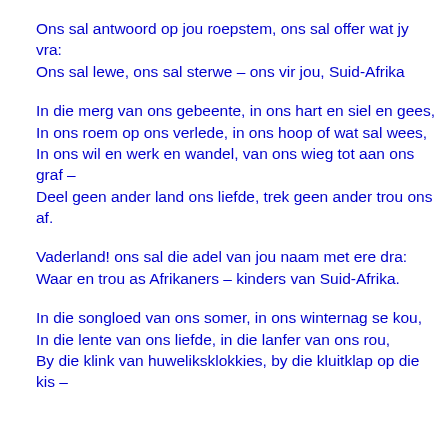Ons sal antwoord op jou roepstem, ons sal offer wat jy vra:
Ons sal lewe, ons sal sterwe – ons vir jou, Suid-Afrika
In die merg van ons gebeente, in ons hart en siel en gees,
In ons roem op ons verlede, in ons hoop of wat sal wees,
In ons wil en werk en wandel, van ons wieg tot aan ons graf –
Deel geen ander land ons liefde, trek geen ander trou ons af.
Vaderland! ons sal die adel van jou naam met ere dra:
Waar en trou as Afrikaners – kinders van Suid-Afrika.
In die songloed van ons somer, in ons winternag se kou,
In die lente van ons liefde, in die lanfer van ons rou,
By die klink van huweliksklokkies, by die kluitklap op die kis –